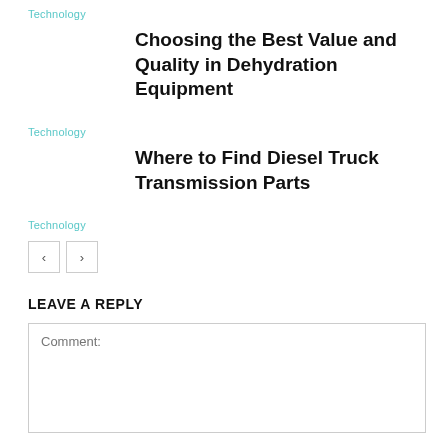Technology
Choosing the Best Value and Quality in Dehydration Equipment
Technology
Where to Find Diesel Truck Transmission Parts
Technology
[Figure (other): Navigation buttons: left arrow and right arrow]
LEAVE A REPLY
Comment: